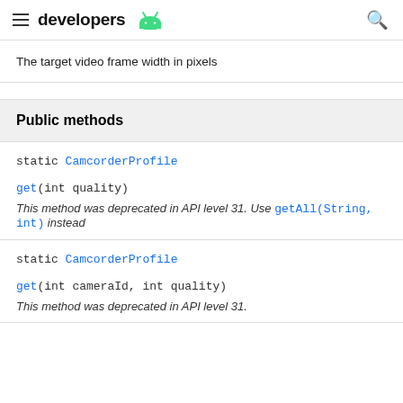developers [android logo]
The target video frame width in pixels
Public methods
static CamcorderProfile
get(int quality)
This method was deprecated in API level 31. Use getAll(String, int) instead
static CamcorderProfile
get(int cameraId, int quality)
This method was deprecated in API level 31.